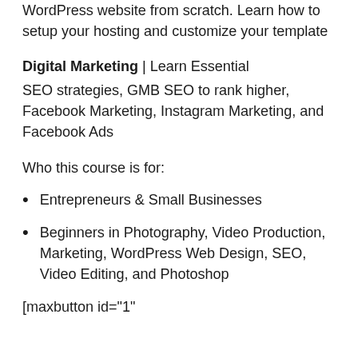WordPress website from scratch. Learn how to setup your hosting and customize your template
Digital Marketing | Learn Essential
SEO strategies, GMB SEO to rank higher, Facebook Marketing, Instagram Marketing, and Facebook Ads
Who this course is for:
Entrepreneurs & Small Businesses
Beginners in Photography, Video Production, Marketing, WordPress Web Design, SEO, Video Editing, and Photoshop
[maxbutton id="1"